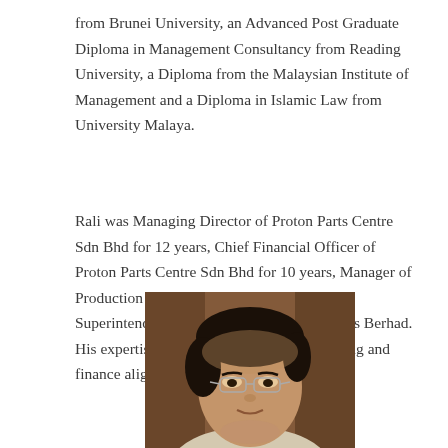from Brunei University, an Advanced Post Graduate Diploma in Management Consultancy from Reading University, a Diploma from the Malaysian Institute of Management and a Diploma in Islamic Law from University Malaya.
Rali was Managing Director of Proton Parts Centre Sdn Bhd for 12 years, Chief Financial Officer of Proton Parts Centre Sdn Bhd for 10 years, Manager of Production Planning at Proton and Planning Superintendent at Dunlop Malaysia Industries Berhad. His expertise is in in making annual budgeting and finance alignment decisions.
[Figure (photo): Portrait photo of a man with dark hair and glasses, facing slightly to the right, wearing a light-colored shirt, with a wooden background.]